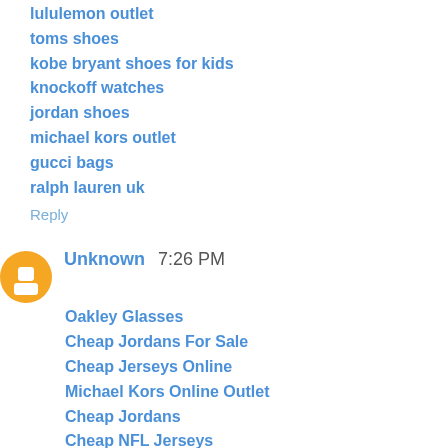lululemon outlet
toms shoes
kobe bryant shoes for kids
knockoff watches
jordan shoes
michael kors outlet
gucci bags
ralph lauren uk
Reply
Unknown 7:26 PM
Oakley Glasses
Cheap Jordans For Sale
Cheap Jerseys Online
Michael Kors Online Outlet
Cheap Jordans
Cheap NFL Jerseys
Cheap Jordan Shoes
Oakeyley Sunglasses Wholesale
Michael Kors Purse
Michael Kors Handbags